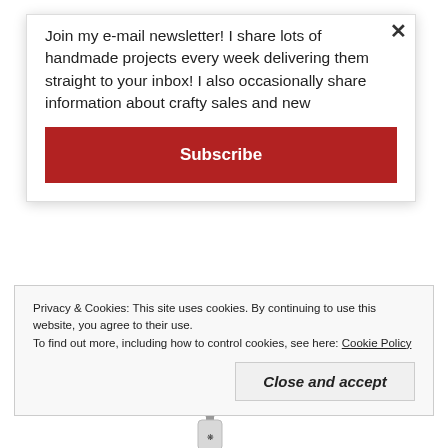Join my e-mail newsletter! I share lots of handmade projects every week delivering them straight to your inbox! I also occasionally share information about crafty sales and new
Subscribe
[Figure (photo): Partial product image strip showing pink/red and blue packaging]
Scrapbook Adhesives White Foam Squares
Shop at:
SSS
[Figure (photo): Small nail polish bottle product image]
Privacy & Cookies: This site uses cookies. By continuing to use this website, you agree to their use.
To find out more, including how to control cookies, see here: Cookie Policy
Close and accept